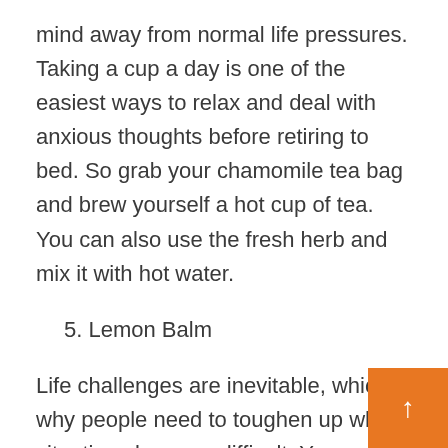mind away from normal life pressures. Taking a cup a day is one of the easiest ways to relax and deal with anxious thoughts before retiring to bed. So grab your chamomile tea bag and brew yourself a hot cup of tea. You can also use the fresh herb and mix it with hot water.
5. Lemon Balm
Life challenges are inevitable, which is why people need to toughen up when situations become difficult. You can opt to use lemon balms to feel relaxed and calm. Lemon balms are known for a soothing trait that cleanses